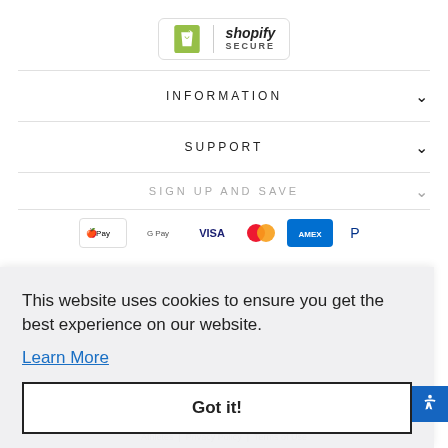[Figure (logo): Shopify Secure badge with green shopping bag icon and 'shopify SECURE' text in a rounded rectangle border]
INFORMATION
SUPPORT
SIGN UP AND SAVE
[Figure (other): Payment method icons: Apple Pay, Google Pay, Visa, Mastercard, American Express, PayPal]
This website uses cookies to ensure you get the best experience on our website.
Learn More
Got it!
© 2022 Thinkbaby and Thinksport Safer Products for Healthier Babies to Athletes  |  Privacy Policy  |  Terms of Use